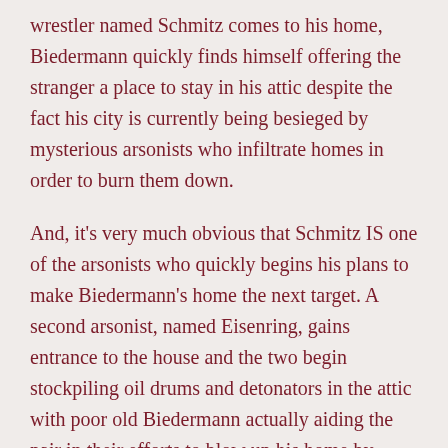wrestler named Schmitz comes to his home, Biedermann quickly finds himself offering the stranger a place to stay in his attic despite the fact his city is currently being besieged by mysterious arsonists who infiltrate homes in order to burn them down.
And, it's very much obvious that Schmitz IS one of the arsonists who quickly begins his plans to make Biedermann's home the next target. A second arsonist, named Eisenring, gains entrance to the house and the two begin stockpiling oil drums and detonators in the attic with poor old Biedermann actually aiding the pair in their efforts to blow up his home by measuring fuses and ultimately, providing the duo with the matches to begin the inferno.